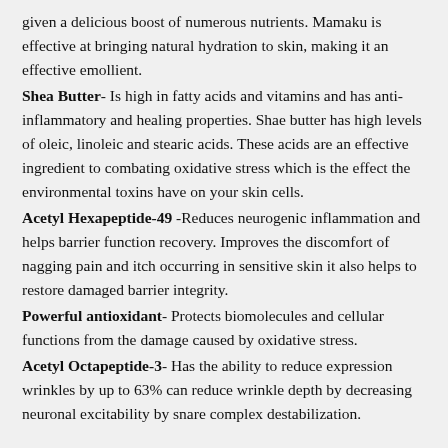given a delicious boost of numerous nutrients. Mamaku is effective at bringing natural hydration to skin, making it an effective emollient.
Shea Butter- Is high in fatty acids and vitamins and has anti-inflammatory and healing properties. Shae butter has high levels of oleic, linoleic and stearic acids. These acids are an effective ingredient to combating oxidative stress which is the effect the environmental toxins have on your skin cells.
Acetyl Hexapeptide-49 -Reduces neurogenic inflammation and helps barrier function recovery. Improves the discomfort of nagging pain and itch occurring in sensitive skin it also helps to restore damaged barrier integrity.
Powerful antioxidant- Protects biomolecules and cellular functions from the damage caused by oxidative stress.
Acetyl Octapeptide-3- Has the ability to reduce expression wrinkles by up to 63% can reduce wrinkle depth by decreasing neuronal excitability by snare complex destabilization.